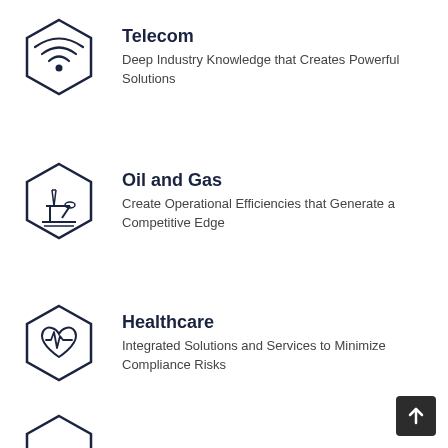[Figure (infographic): Hexagon icon with WiFi symbol representing Telecom]
Telecom
Deep Industry Knowledge that Creates Powerful Solutions
[Figure (infographic): Hexagon icon with oil pump jack representing Oil and Gas]
Oil and Gas
Create Operational Efficiencies that Generate a Competitive Edge
[Figure (infographic): Hexagon icon with heart monitor symbol representing Healthcare]
Healthcare
Integrated Solutions and Services to Minimize Compliance Risks
[Figure (infographic): Partial hexagon icon at bottom of page]